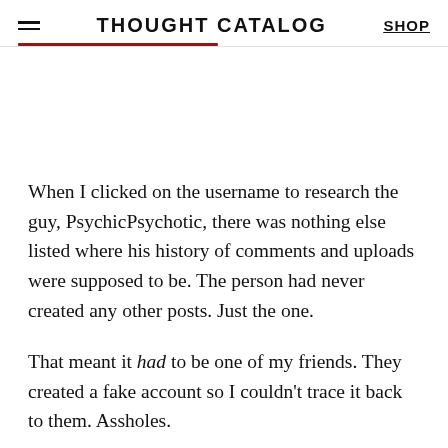THOUGHT CATALOG
When I clicked on the username to research the guy, PsychicPsychotic, there was nothing else listed where his history of comments and uploads were supposed to be. The person had never created any other posts. Just the one.
That meant it had to be one of my friends. They created a fake account so I couldn't trace it back to them. Assholes.
I texted the most likely suspects, testing their responses, but no one acted guilty. No one seemed to be laughing.